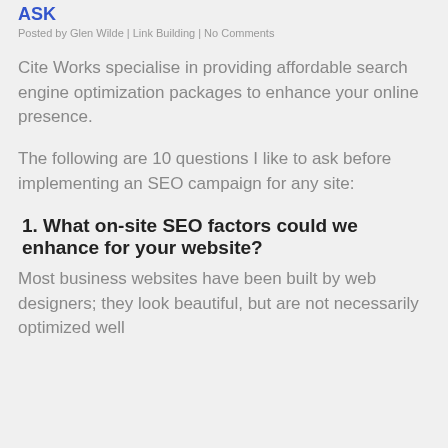ASK
Posted by Glen Wilde | Link Building | No Comments
Cite Works specialise in providing affordable search engine optimization packages to enhance your online presence.
The following are 10 questions I like to ask before implementing an SEO campaign for any site:
1. What on-site SEO factors could we enhance for your website?
Most business websites have been built by web designers; they look beautiful, but are not necessarily optimized well